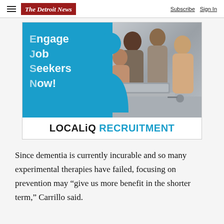The Detroit News — Subscribe | Sign In
[Figure (illustration): LOCALiQ Recruitment advertisement banner showing text 'Engage Job Seekers Now!' on a blue background with a photo of a group of people working together at a laptop, and a blue human silhouette graphic overlay. Footer reads 'LOCALiQ RECRUITMENT'.]
Since dementia is currently incurable and so many experimental therapies have failed, focusing on prevention may “give us more benefit in the shorter term,” Carrillo said.